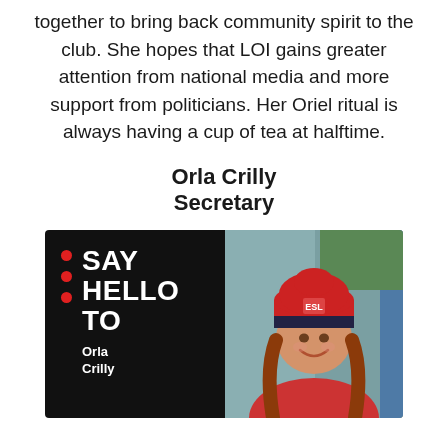together to bring back community spirit to the club. She hopes that LOI gains greater attention from national media and more support from politicians. Her Oriel ritual is always having a cup of tea at halftime.
Orla Crilly
Secretary
[Figure (infographic): Black card with red dots on left side, bold white text reading SAY HELLO TO, below that Orla Crilly in bold white/orange, and a photo of a woman wearing a red and navy beanie hat, smiling.]